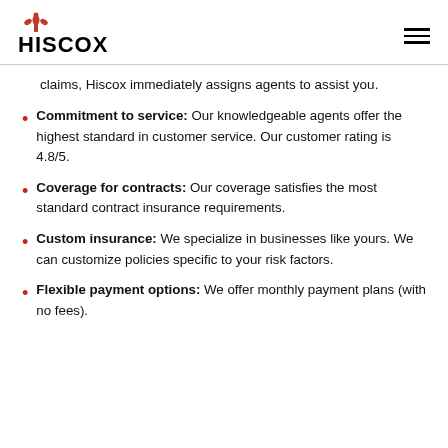HISCOX
claims, Hiscox immediately assigns agents to assist you.
Commitment to service: Our knowledgeable agents offer the highest standard in customer service. Our customer rating is 4.8/5.
Coverage for contracts: Our coverage satisfies the most standard contract insurance requirements.
Custom insurance: We specialize in businesses like yours. We can customize policies specific to your risk factors.
Flexible payment options: We offer monthly payment plans (with no fees).